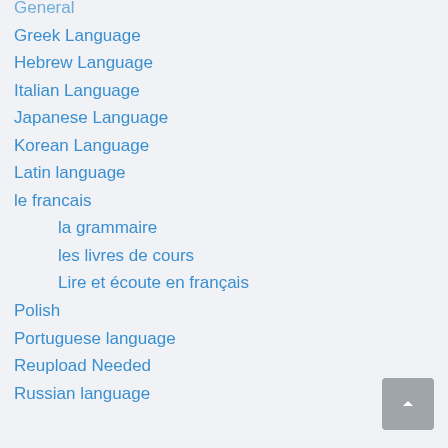General
Greek Language
Hebrew Language
Italian Language
Japanese Language
Korean Language
Latin language
le francais
la grammaire
les livres de cours
Lire et écoute en français
Polish
Portuguese language
Reupload Needed
Russian language